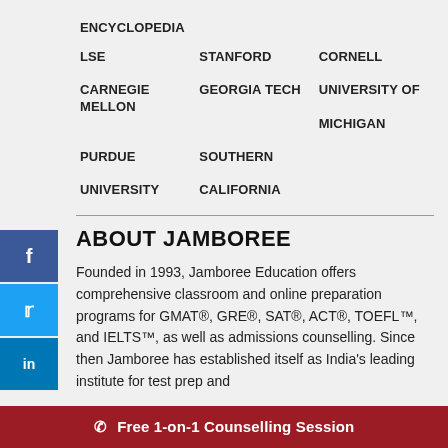ENCYCLOPEDIA
LSE
STANFORD
CORNELL
CARNEGIE MELLON
GEORGIA TECH
UNIVERSITY OF MICHIGAN
PURDUE
SOUTHERN CALIFORNIA
ABOUT JAMBOREE
Founded in 1993, Jamboree Education offers comprehensive classroom and online preparation programs for GMAT®, GRE®, SAT®, ACT®, TOEFL™, and IELTS™, as well as admissions counselling. Since then Jamboree has established itself as India's leading institute for test prep and
✆ Free 1-on-1 Counselling Session